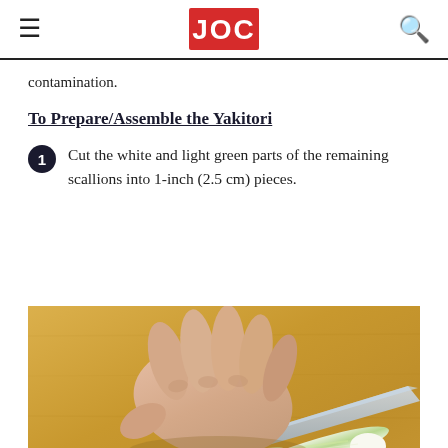JOC
contamination.
To Prepare/Assemble the Yakitori
Cut the white and light green parts of the remaining scallions into 1-inch (2.5 cm) pieces.
[Figure (photo): Hands cutting a scallion on a wooden cutting board. A knife is pressed against the scallion, showing the white and light green parts. The cutting board appears to be made of light-colored wood.]